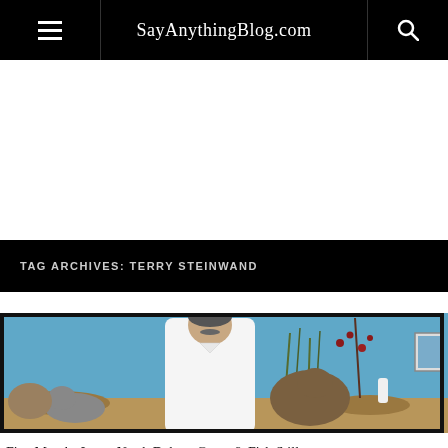SayAnythingBlog.com
TAG ARCHIVES: TERRY STEINWAND
[Figure (photo): A middle-aged man with a mustache wearing a white long-sleeve shirt stands in front of a nature diorama display featuring taxidermied animals including a large rodent (possibly a muskrat or beaver), rabbits, and deer, with tall grasses and red-berried branches against a blue background wall. A framed picture is visible on the right wall.]
Five Months Later, North Dakota Game & Fish Still